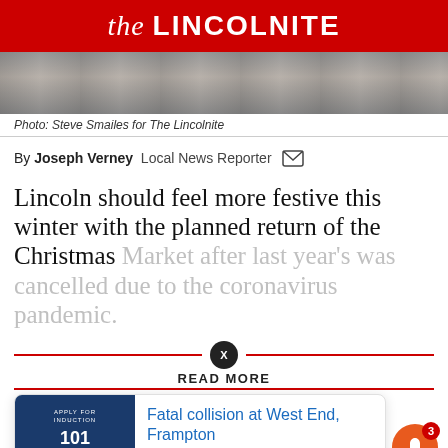the LINCOLNITE
[Figure (photo): Street scene with people walking, muted/dark tones]
Photo: Steve Smailes for The Lincolnite
By Joseph Verney   Local News Reporter
Lincoln should feel more festive this winter with the planned return of the Christmas Market after last year's was cancelled due to the coronavirus pandemic.
READ MORE
Fatal collision at West End, Frampton
20 hours ago